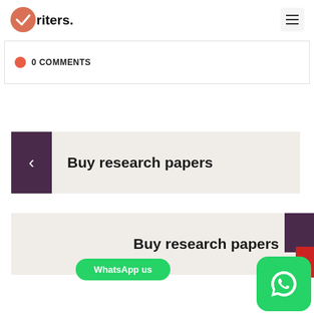Writers.ng
0 COMMENTS
Buy research papers
Buy research papers
WhatsApp us